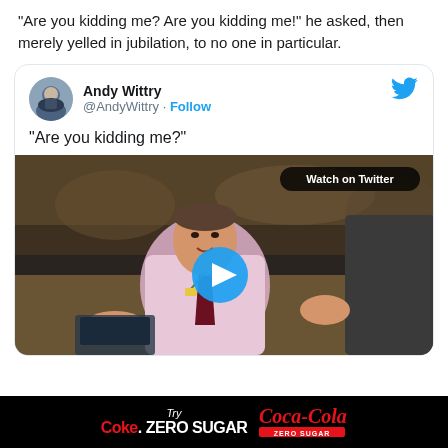“Are you kidding me? Are you kidding me!” he asked, then merely yelled in jubilation, to no one in particular.
[Figure (screenshot): Embedded tweet from @AndyWittry with text 'Are you kidding me?' and a video thumbnail showing a man in a pink shirt and dark red tie at a sports event, with a blue play button overlay and 'Watch on Twitter' label]
[Figure (infographic): Black advertisement banner at the bottom: 'Try Coke Zero Sugar' with Coca-Cola Zero Sugar logo in red and white]